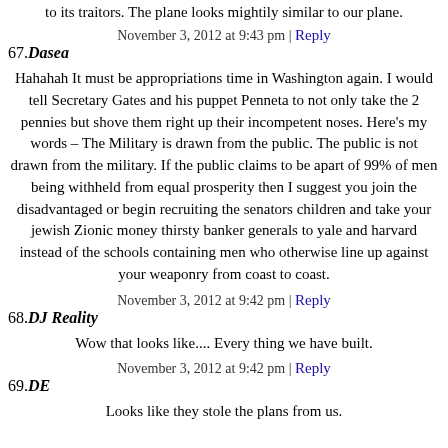to its traitors. The plane looks mightily similar to our plane.
November 3, 2012 at 9:43 pm | Reply
67. Dasea
Hahahah It must be appropriations time in Washington again. I would tell Secretary Gates and his puppet Penneta to not only take the 2 pennies but shove them right up their incompetent noses. Here's my words – The Military is drawn from the public. The public is not drawn from the military. If the public claims to be apart of 99% of men being withheld from equal prosperity then I suggest you join the disadvantaged or begin recruiting the senators children and take your jewish Zionic money thirsty banker generals to yale and harvard instead of the schools containing men who otherwise line up against your weaponry from coast to coast.
November 3, 2012 at 9:42 pm | Reply
68. DJ Reality
Wow that looks like.... Every thing we have built.
November 3, 2012 at 9:42 pm | Reply
69. DE
Looks like they stole the plans from us.